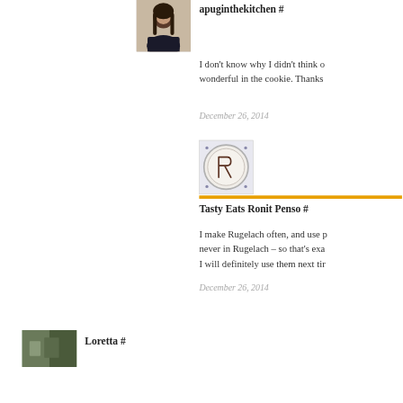[Figure (photo): Small profile photo of a woman with dark hair]
apuginthekitchen  #
I don't know why I didn't think of wonderful in the cookie. Thanks
December 26, 2014
[Figure (photo): Profile avatar showing letter R drawn on a surface]
Tasty Eats Ronit Penso  #
I make Rugelach often, and use p never in Rugelach – so that's exa I will definitely use them next tir
December 26, 2014
[Figure (photo): Small thumbnail photo with green and grey]
Loretta  #